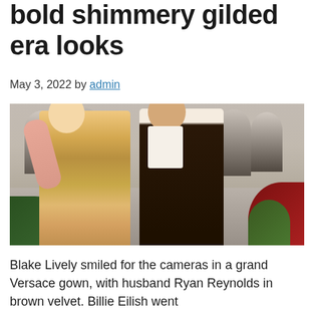bold shimmery gilded era looks
May 3, 2022 by admin
[Figure (photo): Blake Lively and Ryan Reynolds posing together at the Met Gala 2022. Blake Lively wears a shimmery gold Versace gown with pink gloves, Ryan Reynolds wears a dark velvet tuxedo with white bow tie. Photographers and crowd visible in the background with red flowers.]
Blake Lively smiled for the cameras in a grand Versace gown, with husband Ryan Reynolds in brown velvet. Billie Eilish went